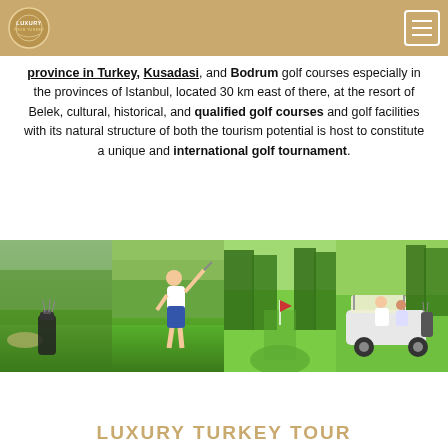Luxury Tour Turkey — navigation header
province in Turkey, Kusadasi, and Bodrum golf courses especially in the provinces of Istanbul, located 30 km east of there, at the resort of Belek, cultural, historical, and qualified golf courses and golf facilities with its natural structure of both the tourism potential is host to constitute a unique and international golf tournament.
[Figure (photo): Four side-by-side photos of a golf course and golfers: golf bag on course, man mid-swing, green fairway with trees, family on golf cart]
LUXURY TURKEY TOUR